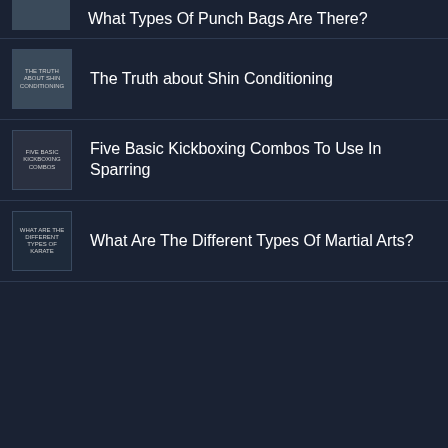What Types Of Punch Bags Are There?
The Truth about Shin Conditioning
Five Basic Kickboxing Combos To Use In Sparring
What Are The Different Types Of Martial Arts?